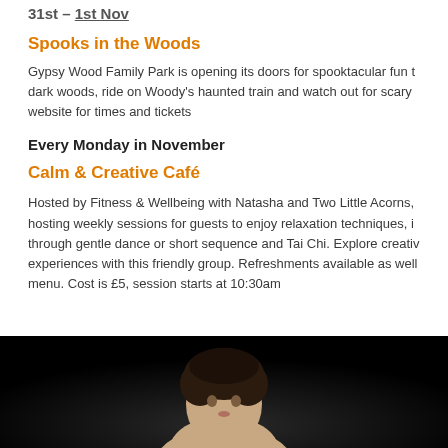31st – 1st Nov
Spooks in the Woods
Gypsy Wood Family Park is opening its doors for spooktacular fun through the dark woods, ride on Woody's haunted train and watch out for scary ... website for times and tickets
Every Monday in November
Calm & Creative Café
Hosted by Fitness & Wellbeing with Natasha and Two Little Acorns, hosting weekly sessions for guests to enjoy relaxation techniques, through gentle dance or short sequence and Tai Chi. Explore creative experiences with this friendly group. Refreshments available as well menu. Cost is £5, session starts at 10:30am
[Figure (photo): Photo of a person with dark curly hair against a dark background, shown from the shoulders up]